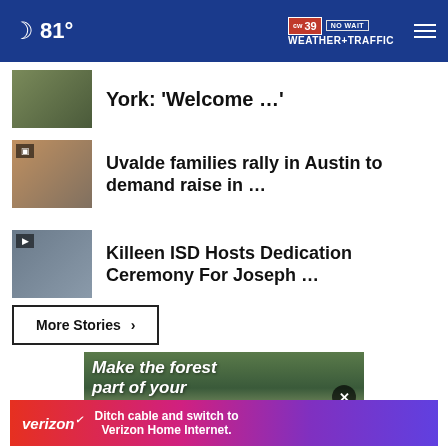81° CW39 NO WAIT WEATHER+TRAFFIC
York: 'Welcome …'
Uvalde families rally in Austin to demand raise in …
Killeen ISD Hosts Dedication Ceremony For Joseph …
More Stories ›
[Figure (photo): Advertisement showing forest trees with text 'Make the forest part of your' and close button]
[Figure (photo): Verizon advertisement: 'Ditch cable and switch to Verizon Home Internet.' on red/purple gradient background]